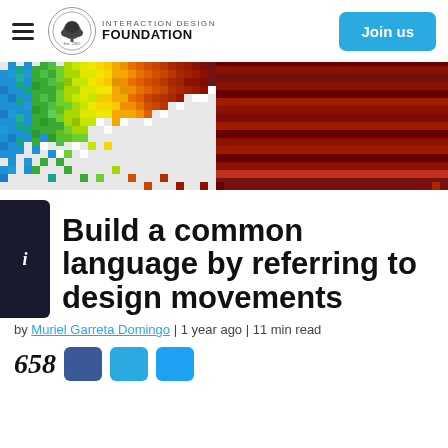Interaction Design Foundation — Build a common language by referring to design movements
[Figure (logo): Interaction Design Foundation logo with tree emblem and text 'INTERACTION DESIGN FOUNDATION']
[Figure (illustration): Colorful pixel mosaic banner spanning the full width, showing a spectrum of colored squares from blue/green on the left to yellow/orange/red on the right, arranged in a wave-like pattern]
Build a common language by referring to design movements
by Muriel Garreta Domingo | 1 year ago | 11 min read